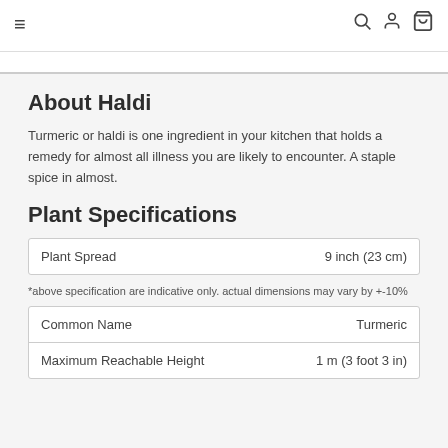≡  🔍 👤 🛍
About Haldi
Turmeric or haldi is one ingredient in your kitchen that holds a remedy for almost all illness you are likely to encounter. A staple spice in almost.
Plant Specifications
| Plant Spread | 9 inch (23 cm) |
| --- | --- |
*above specification are indicative only. actual dimensions may vary by +-10%
| Common Name | Turmeric |
| --- | --- |
| Maximum Reachable Height | 1 m (3 foot 3 in) |